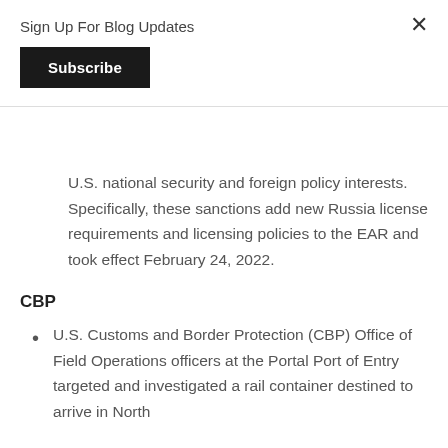Sign Up For Blog Updates
Subscribe
U.S. national security and foreign policy interests. Specifically, these sanctions add new Russia license requirements and licensing policies to the EAR and took effect February 24, 2022.
CBP
U.S. Customs and Border Protection (CBP) Office of Field Operations officers at the Portal Port of Entry targeted and investigated a rail container destined to arrive in North